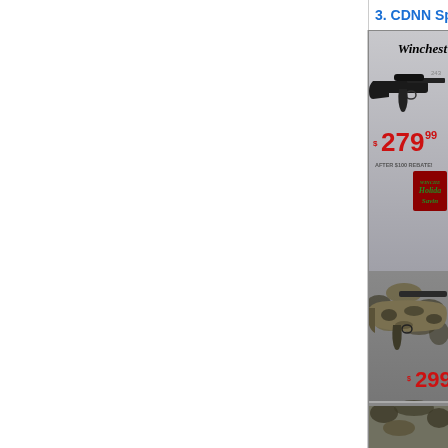3. CDNN Sports — Winchester XR
[Figure (photo): Advertisement showing a black bolt-action rifle (Winchester) with price $279.99 after $100 rebate and Holiday Savings badge. Text reads 'Winchester' at top.]
[Figure (photo): Advertisement showing a camouflage-patterned bolt-action rifle with price $299 shown partially.]
[Figure (photo): Partial view of another camouflage rifle advertisement at bottom of page.]